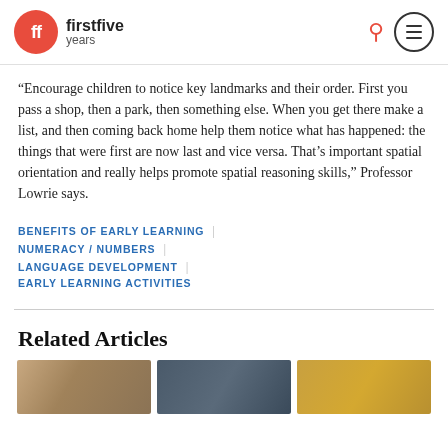firstfive years
“Encourage children to notice key landmarks and their order. First you pass a shop, then a park, then something else. When you get there make a list, and then coming back home help them notice what has happened: the things that were first are now last and vice versa. That’s important spatial orientation and really helps promote spatial reasoning skills,” Professor Lowrie says.
BENEFITS OF EARLY LEARNING
NUMERACY / NUMBERS
LANGUAGE DEVELOPMENT
EARLY LEARNING ACTIVITIES
Related Articles
[Figure (photo): Three small thumbnail photos of children in outdoor/learning settings]